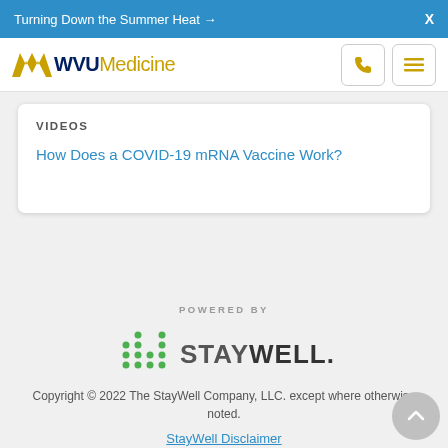Turning Down the Summer Heat →   X
[Figure (logo): WVU Medicine logo with golden flying WV icon and dark blue WVU text followed by gold Medicine text]
VIDEOS
How Does a COVID-19 mRNA Vaccine Work?
POWERED BY
[Figure (logo): StayWell logo: green dot-bar chart icon on left, STAYWELL text in gray on right]
Copyright © 2022 The StayWell Company, LLC. except where otherwise noted.
StayWell Disclaimer